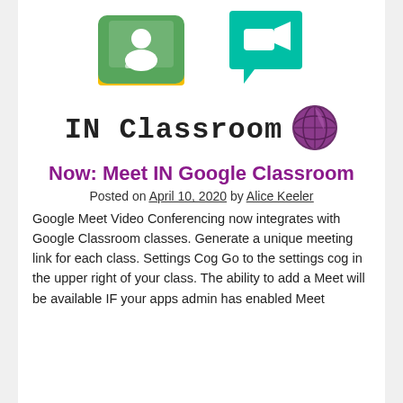[Figure (logo): Google Classroom logo (green square with white person/chalkboard icon) and Google Meet logo (teal speech bubble with white video camera icon), side by side]
[Figure (logo): IN Classroom text logo with a purple/green globe icon to the right]
Now: Meet IN Google Classroom
Posted on April 10, 2020 by Alice Keeler
Google Meet Video Conferencing now integrates with Google Classroom classes. Generate a unique meeting link for each class. Settings Cog Go to the settings cog in the upper right of your class. The ability to add a Meet will be available IF your apps admin has enabled Meet